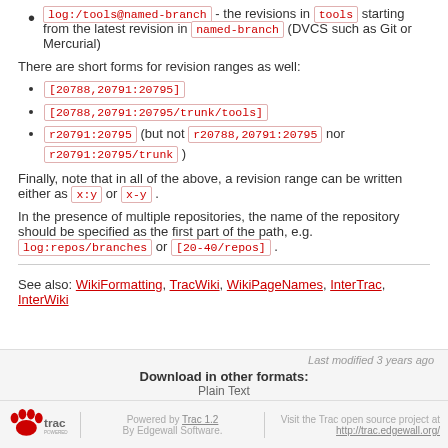log:/tools@named-branch - the revisions in tools starting from the latest revision in named-branch (DVCS such as Git or Mercurial)
There are short forms for revision ranges as well:
[20788,20791:20795]
[20788,20791:20795/trunk/tools]
r20791:20795 (but not r20788,20791:20795 nor r20791:20795/trunk )
Finally, note that in all of the above, a revision range can be written either as x:y or x-y .
In the presence of multiple repositories, the name of the repository should be specified as the first part of the path, e.g. log:repos/branches or [20-40/repos] .
See also: WikiFormatting, TracWiki, WikiPageNames, InterTrac, InterWiki
Last modified 3 years ago
Download in other formats:
Plain Text
Powered by Trac 1.2 By Edgewall Software.
Visit the Trac open source project at http://trac.edgewall.org/